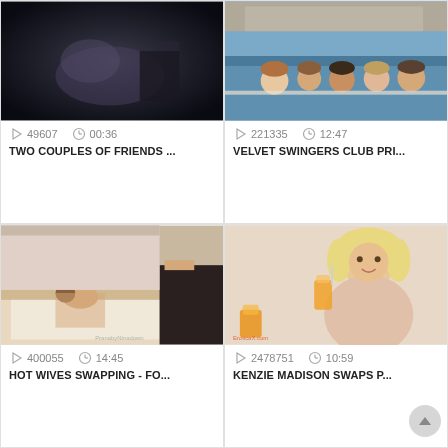[Figure (screenshot): Dark blurry video thumbnail]
49607   00:36
TWO COUPLES OF FRIENDS ...
[Figure (screenshot): Group of people in swimming pool]
221335   12:47
VELVET SWINGERS CLUB PRI...
[Figure (screenshot): Video thumbnail - couple on bed with watermark PranabyNinadown]
400055   14:45
HOT WIVES SWAPPING - FO...
[Figure (screenshot): Blonde woman drinking juice with EroticaX.com watermark]
2478751   10:59
KENZIE MADISON SWAPS P...